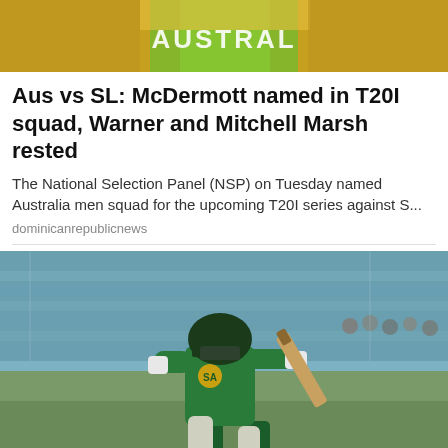[Figure (photo): Top banner showing Australia cricket jersey with 'AUSTRAL' text visible, yellow and green colors]
Aus vs SL: McDermott named in T20I squad, Warner and Mitchell Marsh rested
The National Selection Panel (NSP) on Tuesday named Australia men squad for the upcoming T20I series against S...
dominicanrepublicnews
[Figure (photo): Cricket player in green South Africa kit batting, swinging a bat at a cricket match with stadium seating visible in background]